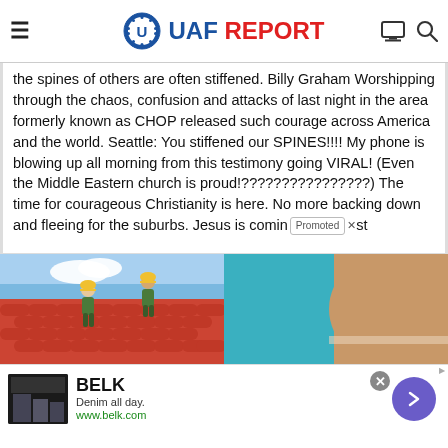UAF REPORT
the spines of others are often stiffened. Billy Graham Worshipping through the chaos, confusion and attacks of last night in the area formerly known as CHOP released such courage across America and the world. Seattle: You stiffened our SPINES!!!! My phone is blowing up all morning from this testimony going VIRAL! (Even the Middle Eastern church is proud!????????????????) The time for courageous Christianity is here. No more backing down and fleeing for the suburbs. Jesus is coming [Promoted ×] st
[Figure (photo): Two workers installing red roof tiles on a house roof, blue sky background]
[Figure (photo): Close-up of a person's midsection/torso against a blue background]
[Figure (advertisement): Belk advertisement: Denim all day. www.belk.com — with thumbnail of people in denim and a purple arrow button]